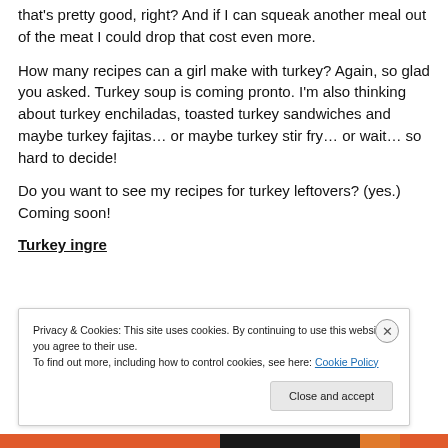that's pretty good, right?  And if I can squeak another meal out of the meat I could drop that cost even more.
How many recipes can a girl make with turkey?  Again, so glad you asked.  Turkey soup is coming pronto.  I'm also thinking about turkey enchiladas, toasted turkey sandwiches and maybe turkey fajitas… or maybe turkey stir fry… or wait… so hard to decide!
Do you want to see my recipes for turkey leftovers?  (yes.)  Coming soon!
Turkey ingredients
Privacy & Cookies: This site uses cookies. By continuing to use this website, you agree to their use.
To find out more, including how to control cookies, see here: Cookie Policy